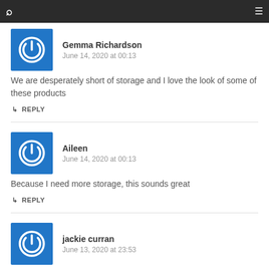Gemma Richardson
June 14, 2020 at 00:13
We are desperately short of storage and I love the look of some of these products
↳ REPLY
Aileen
June 14, 2020 at 00:13
Because I need more storage, this sounds great
↳ REPLY
jackie curran
June 13, 2020 at 23:53
I am trying to sort my room out, these ideas are amazing